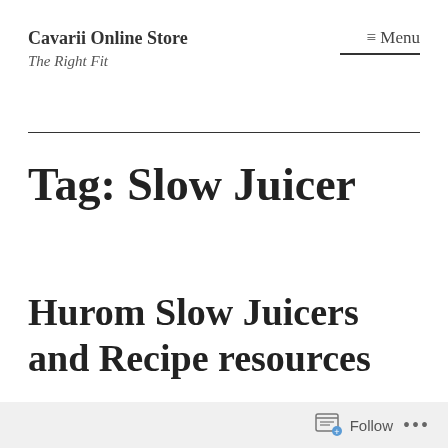Cavarii Online Store
The Right Fit
≡ Menu
Tag: Slow Juicer
Hurom Slow Juicers and Recipe resources
Follow ...